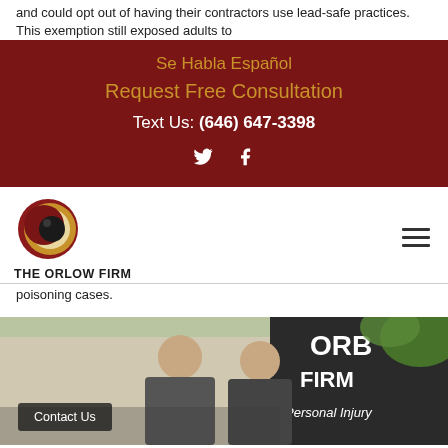and could opt out of having their contractors use lead-safe practices. This exemption still exposed adults to
[Figure (infographic): Dark red banner with Se Habla Español, Request Free Consultation, Text Us: (646) 647-3398, and social media icons for Twitter and Facebook]
[Figure (logo): The Orlow Firm logo — circular emblem with dark sphere and gold/red crescent, with text THE ORLOW FIRM below]
poisoning cases.
[Figure (photo): Photo of two men in front of The Orlow Firm sign with Personal Injury text visible and greenery in background, with a Contact Us button overlay]